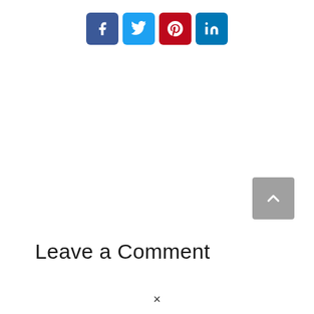[Figure (other): Four social media share buttons in a row: Facebook (dark blue), Twitter (light blue), Pinterest (red), LinkedIn (dark blue), each with white icon on rounded square background]
[Figure (other): Gray scroll-to-top button with white upward chevron arrow, positioned at right side]
Leave a Comment
×